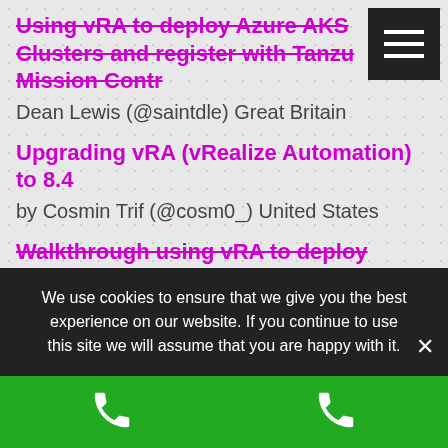Using vRA to deploy Azure AKS Clusters and register with Tanzu Mission Control
Dean Lewis (@saintdle) Great Britain
Upgrading vRA (vRealize Automation) to 8.4
by Cosmin Trif (@cosm0_) United States
Walkthrough using vRA to deploy vSphere with Tanzu Namespaces & Guest Clusters
by Dean Lewis (@saintdle) Great Britain
How to use Compute allocation & Network configure a subscription to change the IP
We use cookies to ensure that we give you the best experience on our website. If you continue to use this site we will assume that you are happy with it.